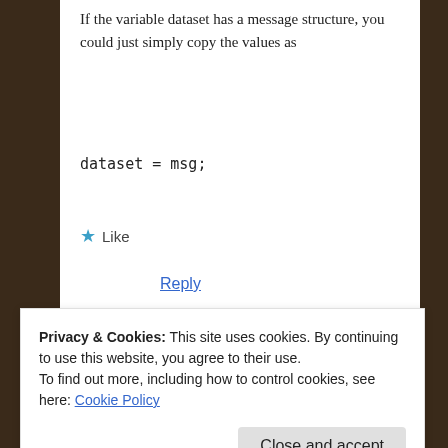If the variable dataset has a message structure, you could just simply copy the values as
dataset = msg;
★ Like
Reply
David Rodriguez
April 12, 2016 at 2:18 am
Privacy & Cookies: This site uses cookies. By continuing to use this website, you agree to their use.
To find out more, including how to control cookies, see here: Cookie Policy
Close and accept